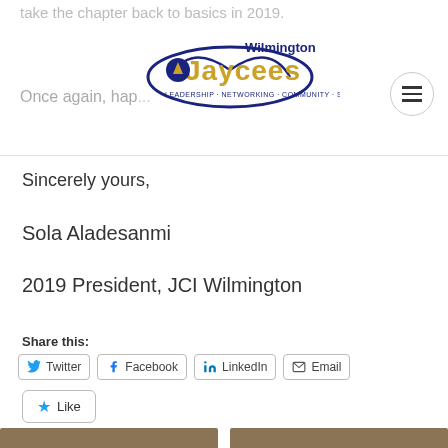take the chapter back to basics in 2019.
[Figure (logo): Wilmington Jaycees logo with tagline: Leadership + Networking + Community + Social]
Once again, hap...
Sincerely yours,
Sola Aladesanmi
2019 President, JCI Wilmington
Share this:
Twitter  Facebook  LinkedIn  Email
Like
Be the first to like this.
[Figure (photo): Two side-by-side photos of a man's face at the bottom of the page]